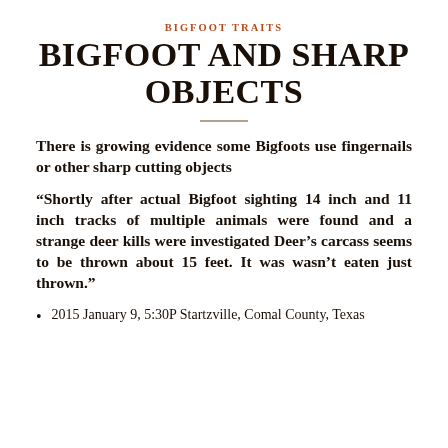BIGFOOT TRAITS
BIGFOOT AND SHARP OBJECTS
There is growing evidence some Bigfoots use fingernails or other sharp cutting objects
“Shortly after actual Bigfoot sighting 14 inch and 11 inch tracks of multiple animals were found and a strange deer kills were investigated Deer’s carcass seems to be thrown about 15 feet. It was wasn’t eaten just thrown.”
2015 January 9, 5:30P Startzville, Comal County, Texas